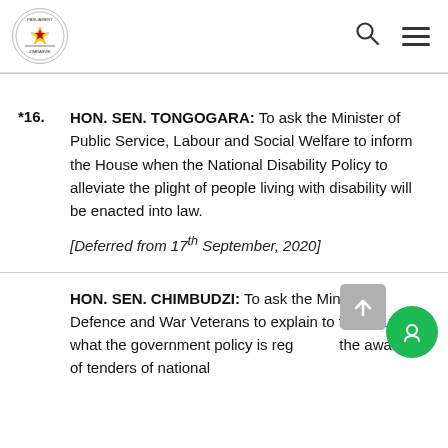Parliament of Zimbabwe
*16. HON. SEN. TONGOGARA: To ask the Minister of Public Service, Labour and Social Welfare to inform the House when the National Disability Policy to alleviate the plight of people living with disability will be enacted into law. [Deferred from 17th September, 2020]
HON. SEN. CHIMBUDZI: To ask the Minister of Defence and War Veterans to explain to the House what the government policy is regarding the awarding of tenders of national